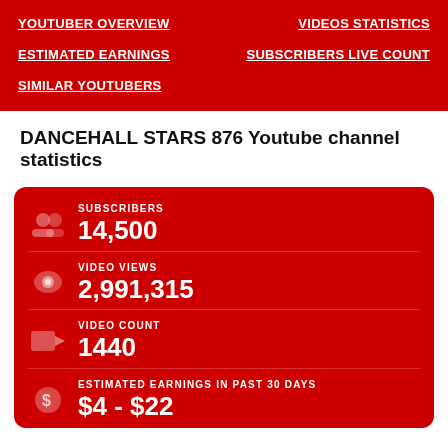YOUTUBER OVERVIEW | VIDEOS STATISTICS | ESTIMATED EARNINGS | SUBSCRIBERS LIVE COUNT | SIMILAR YOUTUBERS
DANCEHALL STARS 876 Youtube channel statistics
| Metric | Value |
| --- | --- |
| SUBSCRIBERS | 14,500 |
| VIDEO VIEWS | 2,991,315 |
| VIDEO COUNT | 1440 |
| ESTIMATED EARNINGS IN PAST 30 DAYS | $4 - $22 |